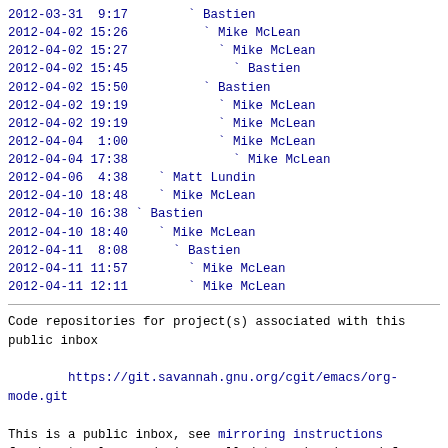2012-03-31  9:17        ` Bastien
2012-04-02 15:26          ` Mike McLean
2012-04-02 15:27            ` Mike McLean
2012-04-02 15:45              ` Bastien
2012-04-02 15:50          ` Bastien
2012-04-02 19:19            ` Mike McLean
2012-04-02 19:19            ` Mike McLean
2012-04-04  1:00            ` Mike McLean
2012-04-04 17:38              ` Mike McLean
2012-04-06  4:38    ` Matt Lundin
2012-04-10 18:48    ` Mike McLean
2012-04-10 16:38 ` Bastien
2012-04-10 18:40    ` Mike McLean
2012-04-11  8:08      ` Bastien
2012-04-11 11:57        ` Mike McLean
2012-04-11 12:11        ` Mike McLean
Code repositories for project(s) associated with this public inbox

        https://git.savannah.gnu.org/cgit/emacs/org-mode.git

This is a public inbox, see mirroring instructions for how to clone and mirror all data and code used for this inbox;
as well as URLs for read-only IMAP folder(s) and NNTP newsgroup(s).